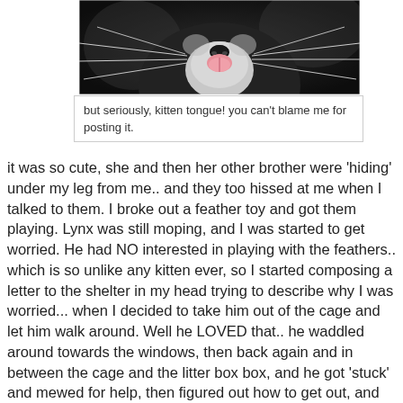[Figure (photo): Close-up photo of a black and white cat's face showing its nose, pink tongue, and whiskers against a dark background]
but seriously, kitten tongue!  you can't blame me for posting it.
it was so cute, she and then her other brother were 'hiding' under my leg from me.. and they too hissed at me when I talked to them.  I broke out a feather toy and got them playing.  Lynx was still moping, and I was started to get worried.  He had NO interested in playing with the feathers.. which is so unlike any kitten ever, so I started composing a letter to the shelter in my head trying to describe why I was worried... when I decided to take him out of the cage and let him walk around. Well he LOVED that.. he waddled around towards the windows, then back again and in between the cage and the litter box box, and he got 'stuck' and mewed for help, then figured out how to get out, and then he PLAYED!!!  So yes, he's mopey in that he refuses to acknowledge me.. I can almost hear him say "this is not happening, this is not happening.. "